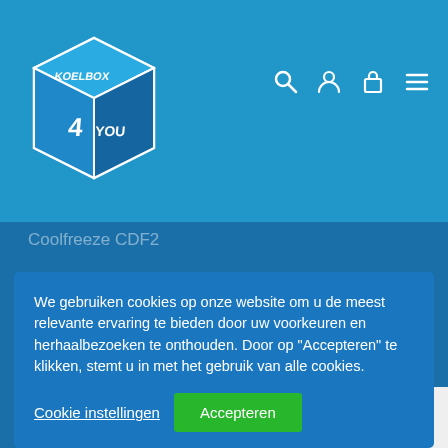[Figure (logo): Koelbox 4 You logo — blue 3D box shape with '4 YOU' text]
Coolfreeze CDF2
We gebruiken cookies op onze website om u de meest relevante ervaring te bieden door uw voorkeuren en herhaalbezoeken te onthouden. Door op "Accepteren" te klikken, stemt u in met het gebruik van alle cookies.
Cookie instellingen
Accepteren
Absorptie koelkasten
Absorptie koelboxen
Compressor koelkasten
Compressor koelkast
[Figure (other): reCAPTCHA badge with circular arrow logo and Privacy - Terms text]